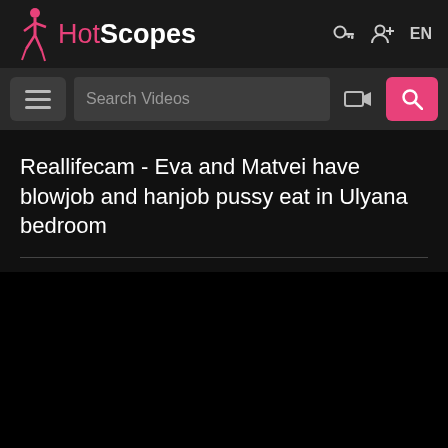HotScopes EN
[Figure (screenshot): Search bar with hamburger menu, Search Videos input field, camera icon, and pink search button]
Reallifecam - Eva and Matvei have blowjob and hanjob pussy eat in Ulyana bedroom